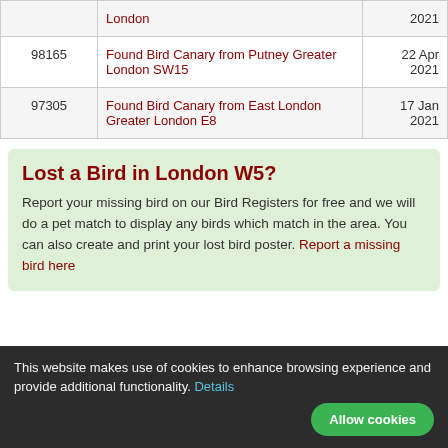| ID | Description | Date |
| --- | --- | --- |
|  | London | 2021 |
| 98165 | Found Bird Canary from Putney Greater London SW15 | 22 Apr 2021 |
| 97305 | Found Bird Canary from East London Greater London E8 | 17 Jan 2021 |
Lost a Bird in London W5?
Report your missing bird on our Bird Registers for free and we will do a pet match to display any birds which match in the area. You can also create and print your lost bird poster. Report a missing bird here
This website makes use of cookies to enhance browsing experience and provide additional functionality. Details Allow cookies